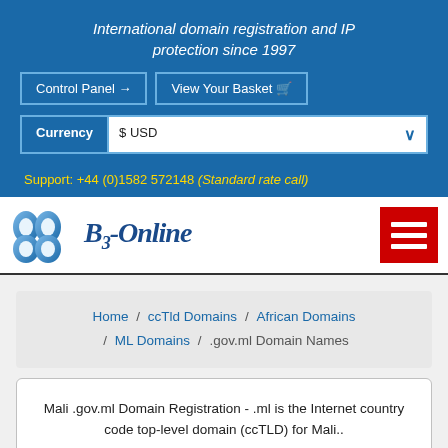International domain registration and IP protection since 1997
Control Panel  View Your Basket
Currency  $ USD
Support: +44 (0)1582 572148 (Standard rate call)
[Figure (logo): BB-Online logo with two blue cloud/shield shapes and cursive text BB-Online]
Home / ccTld Domains / African Domains / ML Domains / .gov.ml Domain Names
Mali .gov.ml Domain Registration - .ml is the Internet country code top-level domain (ccTLD) for Mali..
[Figure (photo): Blue and orange image at bottom, partially visible]